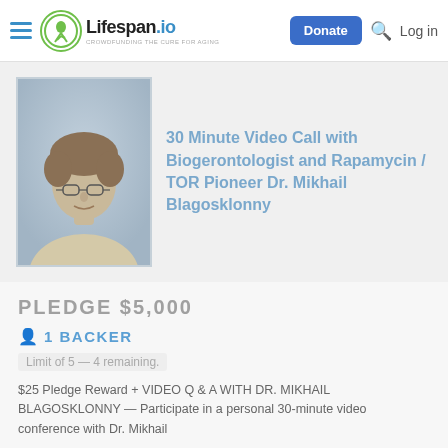Lifespan.io — CROWDFUNDING THE CURE FOR AGING | Donate | Log in
[Figure (photo): Portrait photo of Dr. Mikhail Blagosklonny, a middle-aged man with curly hair and glasses, wearing a light-colored shirt, against a blue-grey background.]
30 Minute Video Call with Biogerontologist and Rapamycin / TOR Pioneer Dr. Mikhail Blagosklonny
PLEDGE $5,000
1 BACKER
Limit of 5 — 4 remaining.
$25 Pledge Reward + VIDEO Q & A WITH DR. MIKHAIL BLAGOSKLONNY — Participate in a personal 30-minute video conference with Dr. Mikhail